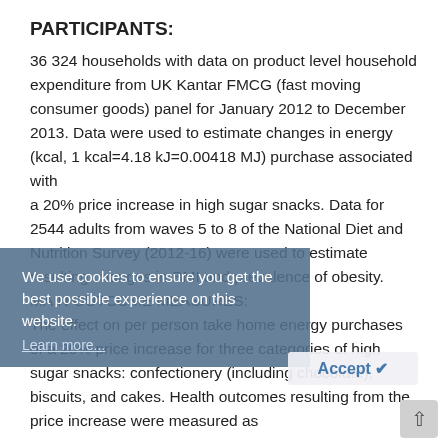PARTICIPANTS:
36 324 households with data on product level household expenditure from UK Kantar FMCG (fast moving consumer goods) panel for January 2012 to December 2013. Data were used to estimate changes in energy (kcal, 1 kcal=4.18 kJ=0.00418 MJ) purchase associated with a 20% price increase in high sugar snacks. Data for 2544 adults from waves 5 to 8 of the National Diet and Nutrition Survey (2012-16) were used to estimate resulting changes in BMI and prevalence of obesity. MAIN OUTCOME MEASURES: The effect on per person take home energy purchases of a 20% price increase for three categories of high sugar snacks: confectionery (including chocolate), biscuits, and cakes. Health outcomes resulting from the price increase were measured as